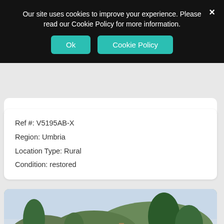Our site uses cookies to improve your experience. Please read our Cookie Policy for more information.
Ok
Cookie Policy
Ref #: V5195AB-X
Region: Umbria
Location Type: Rural
Condition: restored
[Figure (photo): Exterior photo of a restored stone farmhouse in a rural Umbrian landscape, surrounded by green trees, grass lawn, and hills in the background under a partly cloudy sky.]